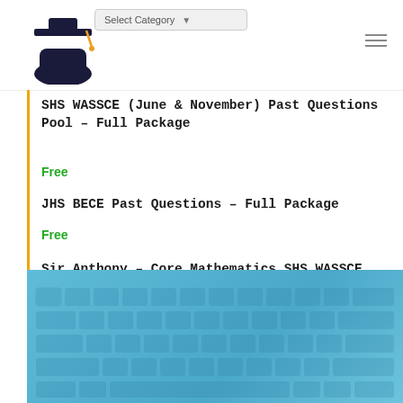[Figure (screenshot): Website header with graduation cap logo on the left, 'Select Category' dropdown in the center-top, and hamburger menu icon on the right]
SHS WASSCE (June & November) Past Questions Pool – Full Package
Free
JHS BECE Past Questions – Full Package
Free
Sir Anthony – Core Mathematics SHS WASSCE
Free
[Figure (photo): Blue banner background with faint keyboard overlay pattern]